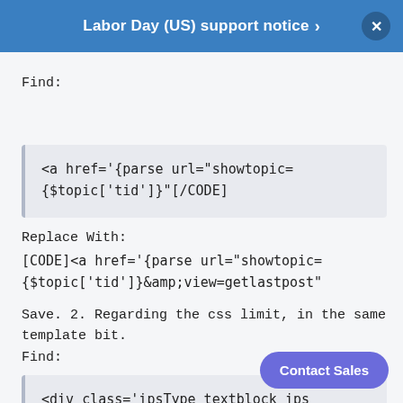Labor Day (US) support notice >
Find:
<a href='{parse url="showtopic=
{$topic['tid']}"[/CODE]
Replace With:
[CODE]<a href='{parse url="showtopic=
{$topic['tid']}&amp;view=getlastpost"
Save. 2. Regarding the css limit, in the same template bit.
Find:
<div class='ipsType_textblock ips